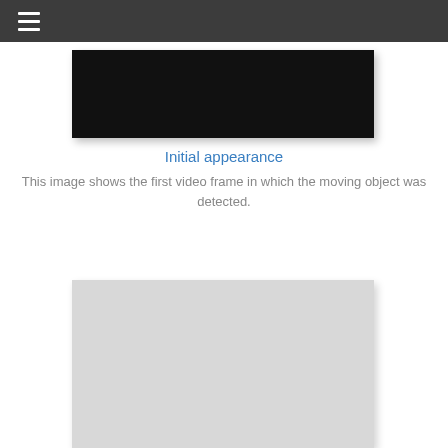≡
[Figure (photo): Dark/black video frame showing first appearance of moving object]
Initial appearance
This image shows the first video frame in which the moving object was detected.
[Figure (screenshot): Light gray panel with 'Video' label partially visible at bottom]